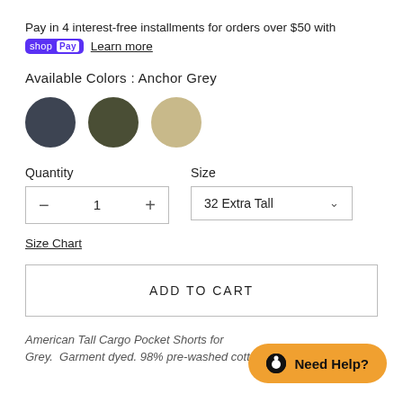Pay in 4 interest-free installments for orders over $50 with shop Pay  Learn more
Available Colors : Anchor Grey
[Figure (illustration): Three color swatches as circles: dark grey/slate, olive green, and tan/beige]
Quantity
Size
- 1 +
32 Extra Tall
Size Chart
ADD TO CART
American Tall Cargo Pocket Shorts for Grey. Garment dyed. 98% pre-washed cotton for weight,